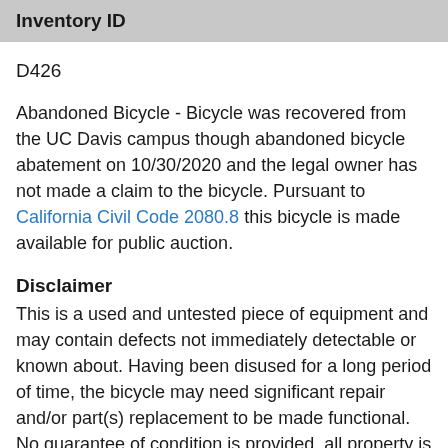Inventory ID
D426
Abandoned Bicycle - Bicycle was recovered from the UC Davis campus though abandoned bicycle abatement on 10/30/2020 and the legal owner has not made a claim to the bicycle. Pursuant to California Civil Code 2080.8 this bicycle is made available for public auction.
Disclaimer
This is a used and untested piece of equipment and may contain defects not immediately detectable or known about. Having been disused for a long period of time, the bicycle may need significant repair and/or part(s) replacement to be made functional. No guarantee of condition is provided, all property is sold as-is. Bidders are highly encouraged to inspect prior to bidding. See information below for viewing